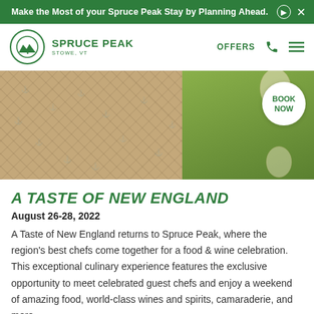Make the Most of your Spruce Peak Stay by Planning Ahead.
[Figure (logo): Spruce Peak logo — circular green logo with mountain peaks and trees, text SPRUCE PEAK STOWE, VT]
OFFERS
[Figure (photo): Close-up photo of a person in an anchor-patterned shirt holding wine glasses, with green grass background]
A TASTE OF NEW ENGLAND
August 26-28, 2022
A Taste of New England returns to Spruce Peak, where the region's best chefs come together for a food & wine celebration. This exceptional culinary experience features the exclusive opportunity to meet celebrated guest chefs and enjoy a weekend of amazing food, world-class wines and spirits, camaraderie, and more.